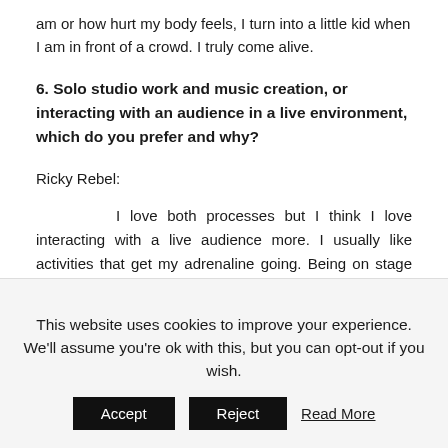am or how hurt my body feels, I turn into a little kid when I am in front of a crowd. I truly come alive.
6. Solo studio work and music creation, or interacting with an audience in a live environment, which do you prefer and why?
Ricky Rebel:
I love both processes but I think I love interacting with a live audience more. I usually like activities that get my adrenaline going. Being on stage gives me such a rush. In the studio when I am
This website uses cookies to improve your experience. We'll assume you're ok with this, but you can opt-out if you wish.